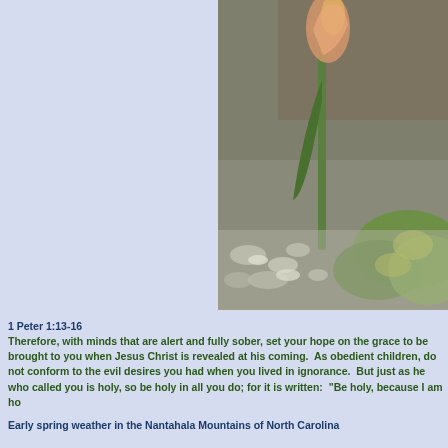[Figure (photo): Close-up photograph of a single tulip bud on a green stem, with low ground-cover plants visible in the background. Photo taken in early spring.]
1 Peter 1:13-16
Therefore, with minds that are alert and fully sober, set your hope on the grace to be brought to you when Jesus Christ is revealed at his coming.  As obedient children, do not conform to the evil desires you had when you lived in ignorance.  But just as he who called you is holy, so be holy in all you do; for it is written:  "Be holy, because I am ho
Early spring weather in the Nantahala Mountains of North Carolina